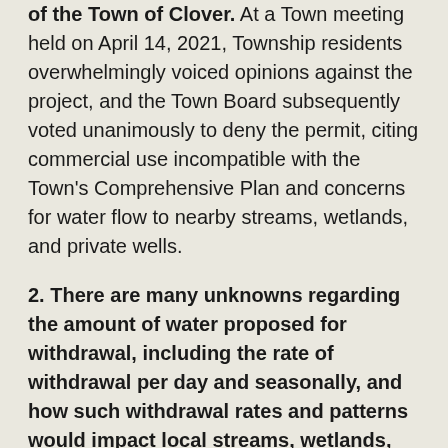of the Town of Clover. At a Town meeting held on April 14, 2021, Township residents overwhelmingly voiced opinions against the project, and the Town Board subsequently voted unanimously to deny the permit, citing commercial use incompatible with the Town's Comprehensive Plan and concerns for water flow to nearby streams, wetlands, and private wells.
2. There are many unknowns regarding the amount of water proposed for withdrawal, including the rate of withdrawal per day and seasonally, and how such withdrawal rates and patterns would impact local streams, wetlands, and cold water upwellings into Lake Superior. For example, MSA Professional Services, Inc., an engineering firm that the Applicant has retained